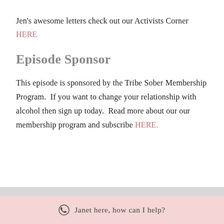Jen's awesome letters check out our Activists Corner HERE
Episode Sponsor
This episode is sponsored by the Tribe Sober Membership Program.  If you want to change your relationship with alcohol then sign up today.  Read more about our our membership program and subscribe HERE.
Janet here, how can I help?